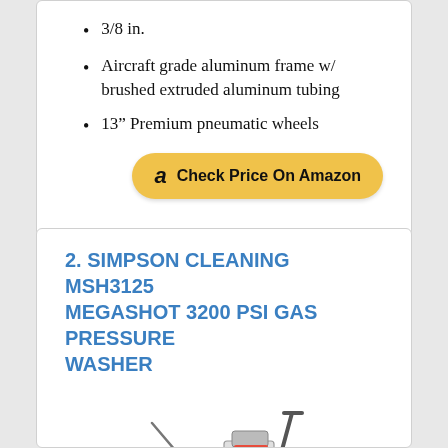3/8 in.
Aircraft grade aluminum frame w/ brushed extruded aluminum tubing
13” Premium pneumatic wheels
[Figure (other): Check Price On Amazon button with Amazon logo]
2. SIMPSON CLEANING MSH3125 MEGASHOT 3200 PSI GAS PRESSURE WASHER
[Figure (photo): Photo of Simpson Cleaning MSH3125 MegaShot 3200 PSI gas pressure washer on wheels]